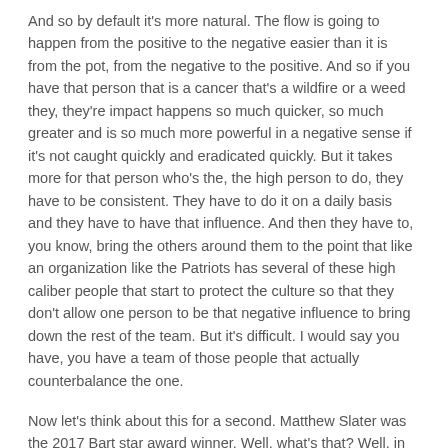And so by default it's more natural. The flow is going to happen from the positive to the negative easier than it is from the pot, from the negative to the positive. And so if you have that person that is a cancer that's a wildfire or a weed they, they're impact happens so much quicker, so much greater and is so much more powerful in a negative sense if it's not caught quickly and eradicated quickly. But it takes more for that person who's the, the high person to do, they have to be consistent. They have to do it on a daily basis and they have to have that influence. And then they have to, you know, bring the others around them to the point that like an organization like the Patriots has several of these high caliber people that start to protect the culture so that they don't allow one person to be that negative influence to bring down the rest of the team. But it's difficult. I would say you have, you have a team of those people that actually counterbalance the one.
Now let's think about this for a second. Matthew Slater was the 2017 Bart star award winner. Well, what's that? Well, in 2017,